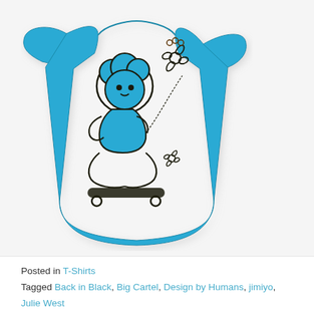[Figure (photo): A bright blue women's fitted t-shirt displayed on a model torso. The shirt features a large black line-art graphic of a cartoon girl with a big round cloud-like hairstyle, sitting cross-legged on a skateboard. She holds a string attached to a spiky flower/pinwheel floating above. Another small flower motif appears at the lower right of the chest area. The design is printed in dark brown/black outlines on the turquoise/cyan blue fabric.]
Posted in T-Shirts
Tagged Back in Black, Big Cartel, Design by Humans, jimiyo, Julie West